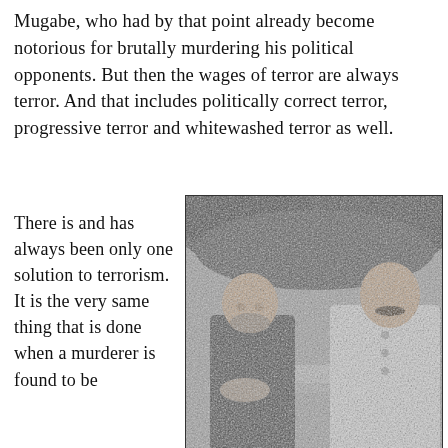Mugabe, who had by that point already become notorious for brutally murdering his political opponents. But then the wages of terror are always terror. And that includes politically correct terror, progressive terror and whitewashed terror as well.
There is and has always been only one solution to terrorism. It is the very same thing that is done when a murderer is found to be
[Figure (photo): Black and white photograph of two men seated together outdoors, one bald with a beard wearing a dark jacket, the other with a mustache wearing a white military-style jacket.]